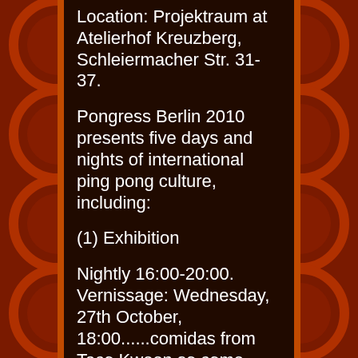Location: Projektraum at Atelierhof Kreuzberg, Schleiermacher Str. 31-37.
Pongress Berlin 2010 presents five days and nights of international ping pong culture, including:
(1) Exhibition
Nightly 16:00-20:00. Vernissage: Wednesday, 27th October, 18:00......comidas from Taco Kween so come hungry!
An exhibition of installation, video